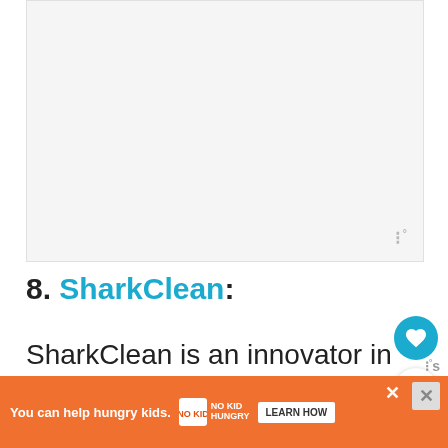[Figure (other): A light gray placeholder image area, approximately the top half of the page, with a watermark logo in the bottom-right corner reading 'W°']
8. SharkClean:
SharkClean is an innovator in household appliances and other cleaning product solutions that are manufactured for the...
[Figure (infographic): Orange advertisement banner at the bottom reading 'You can help hungry kids.' with No Kid Hungry logo and a LEARN HOW button]